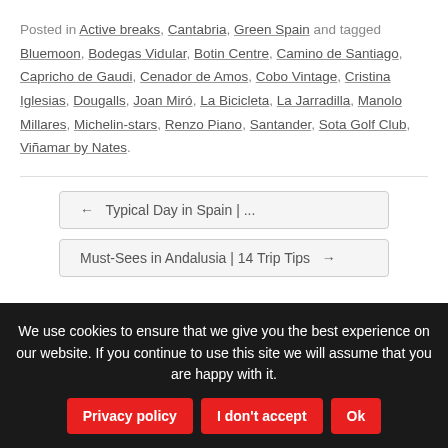Posted in Active breaks, Cantabria, Green Spain and tagged Bluemoon, Bodegas Vidular, Botin Centre, Camino de Santiago, Capricho de Gaudi, Cenador de Amos, Cobo Vintage, Cristina Iglesias, Dougalls, Joan Miró, La Bicicleta, La Jarradilla, Manolo Millares, Michelin-stars, Renzo Piano, Santander, Sota Golf Club, Viñamar by Nates.
← Typical Day in Spain | ...
Must-Sees in Andalusia | 14 Trip Tips →
We use cookies to ensure that we give you the best experience on our website. If you continue to use this site we will assume that you are happy with it.